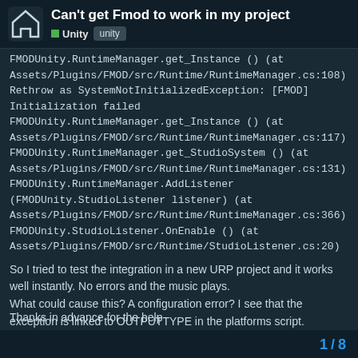Can't get Fmod to work in my project — Unity | unity
FMODUnity.RuntimeManager.get_Instance () (at Assets/Plugins/FMOD/src/Runtime/RuntimeManager.cs:108)
Rethrow as SystemNotInitializedException: [FMOD] Initialization failed
FMODUnity.RuntimeManager.get_Instance () (at Assets/Plugins/FMOD/src/Runtime/RuntimeManager.cs:117)
FMODUnity.RuntimeManager.get_StudioSystem () (at Assets/Plugins/FMOD/src/Runtime/RuntimeManager.cs:131)
FMODUnity.RuntimeManager.AddListener (FMODUnity.StudioListener listener) (at Assets/Plugins/FMOD/src/Runtime/RuntimeManager.cs:366)
FMODUnity.StudioListener.OnEnable () (at Assets/Plugins/FMOD/src/Runtime/StudioListener.cs:20)
So I tried to test the integration in a new URP project and it works well instantly. No errors and the music plays.
What could cause this? A configuration error? I see that the exception is linked to OUTPUTTYPE in the platforms script.
Thanks in advance for the help
1 / 8